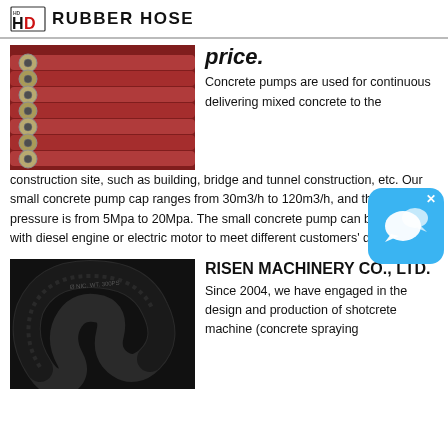HD RUBBER HOSE
[Figure (photo): Multiple red rubber hoses with metal fittings/couplings at the ends, arranged in a row]
price. Concrete pumps are used for continuous delivering mixed concrete to the construction site, such as building, bridge and tunnel construction, etc. Our small concrete pump capacity ranges from 30m3/h to 120m3/h, and the delivery pressure is from 5Mpa to 20Mpa. The small concrete pump can be equipped with diesel engine or electric motor to meet different customers' demand.
[Figure (photo): A black rubber hose coiled/bent, with text markings visible on the hose surface]
RISEN MACHINERY CO., LTD. Since 2004, we have engaged in the design and production of shotcrete machine (concrete spraying